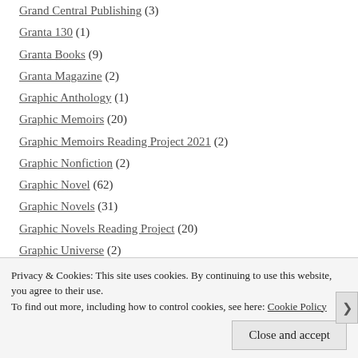Grand Central Publishing (3)
Granta 130 (1)
Granta Books (9)
Granta Magazine (2)
Graphic Anthology (1)
Graphic Memoirs (20)
Graphic Memoirs Reading Project 2021 (2)
Graphic Nonfiction (2)
Graphic Novel (62)
Graphic Novels (31)
Graphic Novels Reading Project (20)
Graphic Universe (2)
graywolf press (12)
Privacy & Cookies: This site uses cookies. By continuing to use this website, you agree to their use. To find out more, including how to control cookies, see here: Cookie Policy
Close and accept